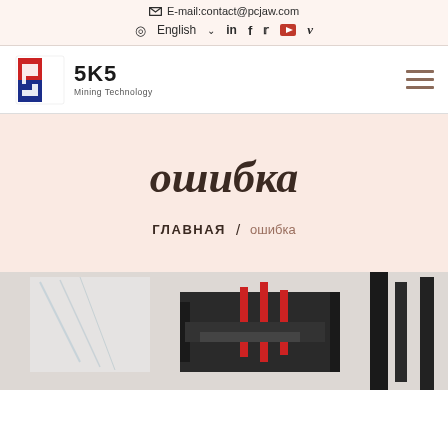E-mail: contact@pcjaw.com
English  in  f  twitter  youtube  vimeo
[Figure (logo): SKS Mining Technology logo with red and blue angular S graphic mark]
ошибка
ГЛАВНАЯ / ошибка
[Figure (photo): Mining equipment machinery photo showing industrial jaw crusher or similar equipment with red and black components]